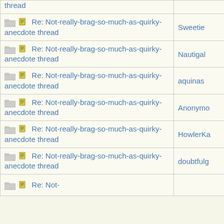| Subject | Author |
| --- | --- |
| Re: Not-really-brag-so-much-as-quirky-anecdote thread | thread |
| Re: Not-really-brag-so-much-as-quirky-anecdote thread | Sweetie |
| Re: Not-really-brag-so-much-as-quirky-anecdote thread | Nautigal |
| Re: Not-really-brag-so-much-as-quirky-anecdote thread | aquinas |
| Re: Not-really-brag-so-much-as-quirky-anecdote thread | Anonymous |
| Re: Not-really-brag-so-much-as-quirky-anecdote thread | HowlerKa |
| Re: Not-really-brag-so-much-as-quirky-anecdote thread | doubtfulg |
| Re: Not-... |  |